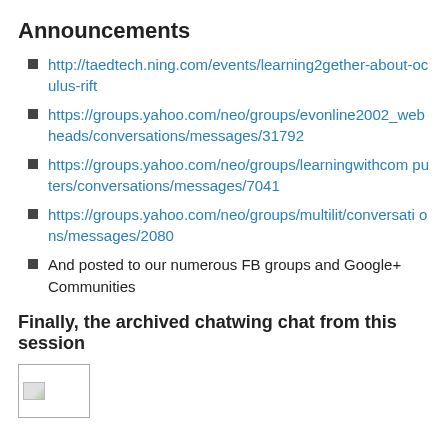Announcements
http://taedtech.ning.com/events/learning2gether-about-oculus-rift
https://groups.yahoo.com/neo/groups/evonline2002_webheads/conversations/messages/31792
https://groups.yahoo.com/neo/groups/learningwithcomputers/conversations/messages/7041
https://groups.yahoo.com/neo/groups/multilit/conversations/messages/2080
And posted to our numerous FB groups and Google+ Communities
Finally, the archived chatwing chat from this session
[Figure (photo): Broken/placeholder image thumbnail]